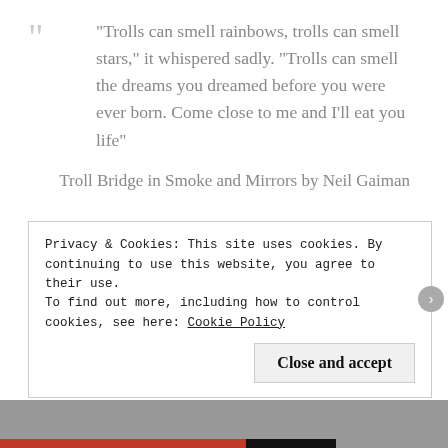“Trolls can smell rainbows, trolls can smell stars,” it whispered sadly. “Trolls can smell the dreams you dreamed before you were ever born. Come close to me and I’ll eat you life”
Troll Bridge in Smoke and Mirrors by Neil Gaiman
Perspective Rating: 7/10 I don’t think these characters were particularly unique in the sense
Privacy & Cookies: This site uses cookies. By continuing to use this website, you agree to their use.
To find out more, including how to control cookies, see here: Cookie Policy